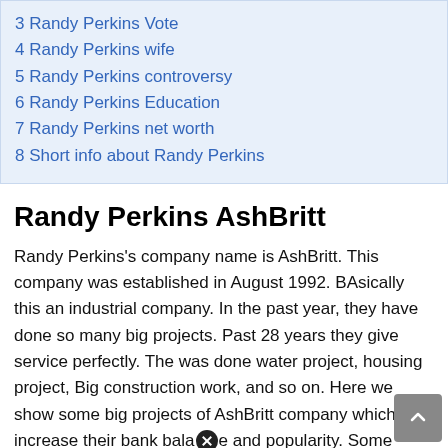3 Randy Perkins Vote
4 Randy Perkins wife
5 Randy Perkins controversy
6 Randy Perkins Education
7 Randy Perkins net worth
8 Short info about Randy Perkins
Randy Perkins AshBritt
Randy Perkins's company name is AshBritt. This company was established in August 1992. BAsically this an industrial company. In the past year, they have done so many big projects. Past 28 years they give service perfectly. The was done water project, housing project, Big construction work, and so on. Here we show some big projects of AshBritt company which increase their bank balance and popularity. Some services we like to mention.